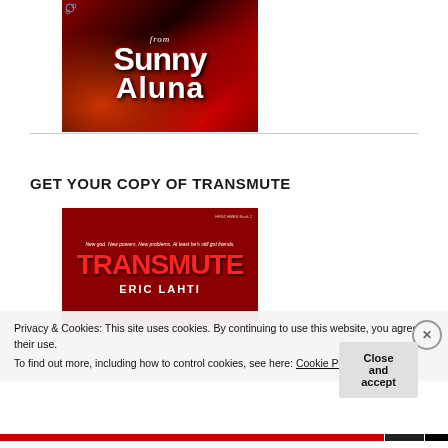[Figure (illustration): Book cover showing stylized text 'from Sunny Aluna' with red and black swirling artistic background and floral corner decoration]
GET YOUR COPY OF TRANSMUTE
[Figure (illustration): Book cover for 'TRANSMUTE' by Eric Lahti, HENCHMEN Book 2. Red background with large red blocky title text and white author name. Tagline: 'New god. New powers. New problems. At least he's still got friends.']
Privacy & Cookies: This site uses cookies. By continuing to use this website, you agree to their use. To find out more, including how to control cookies, see here: Cookie Policy
Close and accept